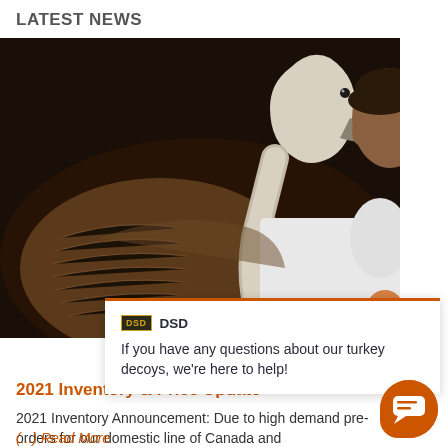LATEST NEWS
[Figure (photo): A person holding a Canada goose decoy against a dark background, with a white goose head visible.]
DSD
If you have any questions about our turkey decoys, we're here to help!
2021 Inventory & Price Update
2021 Inventory Announcement: Due to high demand pre-orders for our domestic line of Canada and
(...) Read More